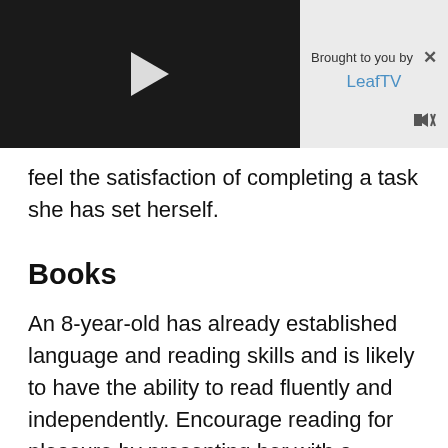[Figure (screenshot): Video player thumbnail with dark background and white play button triangle in center]
Brought to you by LeafTV
feel the satisfaction of completing a task she has set herself.
Books
An 8-year-old has already established language and reading skills and is likely to have the ability to read fluently and independently. Encourage reading for pleasure by presenting her with a selection of age-appropriate books. Choose a classic that features the life or lives of young girls, such as "Little Women" or "Alice's Adventures in Wonderland" that she may relate to. Alternatively, select novels by a modern day author such as J.K. Rowling's Harry Potter